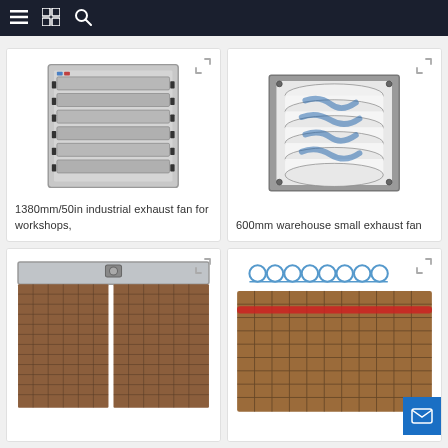Navigation bar with menu, catalog, and search icons
[Figure (photo): Industrial exhaust fan with aluminum louvered shutter, front view, silver/grey metallic finish]
1380mm/50in industrial exhaust fan for workshops,
[Figure (photo): 600mm warehouse small exhaust fan with cylindrical rolls visible, white and blue packaging]
600mm warehouse small exhaust fan
[Figure (photo): Evaporative cooling pad panel with brown honeycomb texture, silver top frame]
[Figure (photo): Evaporative cooling pad/honeycomb cellulose media with water drip nozzles visible at top]